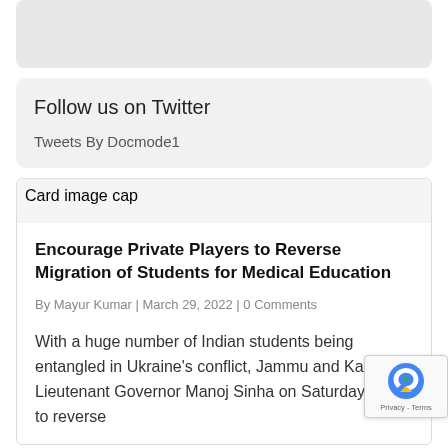[Figure (other): Gray placeholder rectangle at the top of the page]
Follow us on Twitter
Tweets By Docmode1
[Figure (photo): Card image cap placeholder image]
Encourage Private Players to Reverse Migration of Students for Medical Education
By Mayur Kumar | March 29, 2022 | 0 Comments
With a huge number of Indian students being entangled in Ukraine's conflict, Jammu and Kashmir Lieutenant Governor Manoj Sinha on Saturday tried to reverse